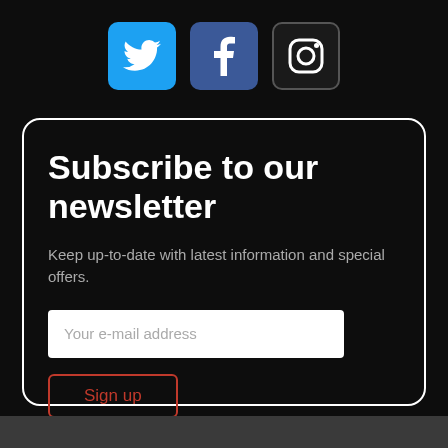[Figure (illustration): Three social media icons in a row: Twitter (blue bird icon on blue background), Facebook (f logo on dark blue background), Instagram (camera icon on dark background with border)]
Subscribe to our newsletter
Keep up-to-date with latest information and special offers.
Your e-mail address
Sign up